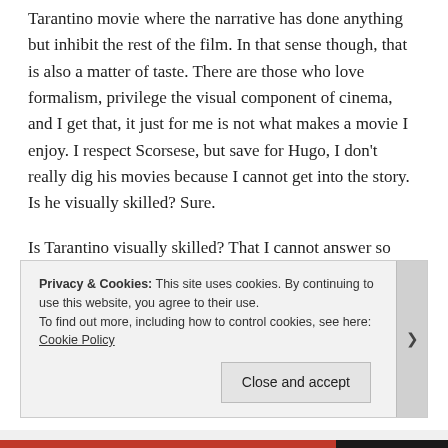Tarantino movie where the narrative has done anything but inhibit the rest of the film. In that sense though, that is also a matter of taste. There are those who love formalism, privilege the visual component of cinema, and I get that, it just for me is not what makes a movie I enjoy. I respect Scorsese, but save for Hugo, I don't really dig his movies because I cannot get into the story. Is he visually skilled? Sure.
Is Tarantino visually skilled? That I cannot answer so definitively. He is a masterful mimic, which is worth noting, but it is all just pastiche to me, throwing things
Privacy & Cookies: This site uses cookies. By continuing to use this website, you agree to their use.
To find out more, including how to control cookies, see here: Cookie Policy
Close and accept